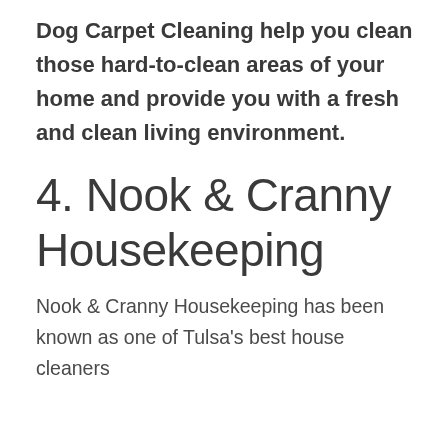Dog Carpet Cleaning help you clean those hard-to-clean areas of your home and provide you with a fresh and clean living environment.
4. Nook & Cranny Housekeeping
Nook & Cranny Housekeeping has been known as one of Tulsa's best house cleaners